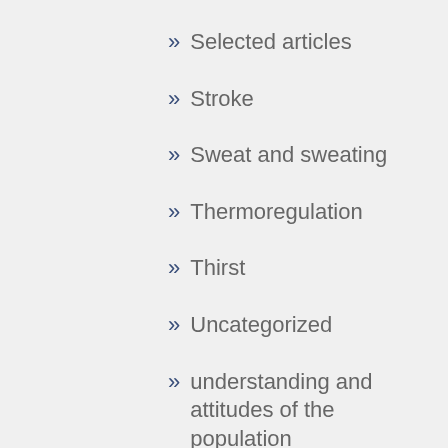Selected articles
Stroke
Sweat and sweating
Thermoregulation
Thirst
Uncategorized
understanding and attitudes of the population
Water balance
Water intake recommendations